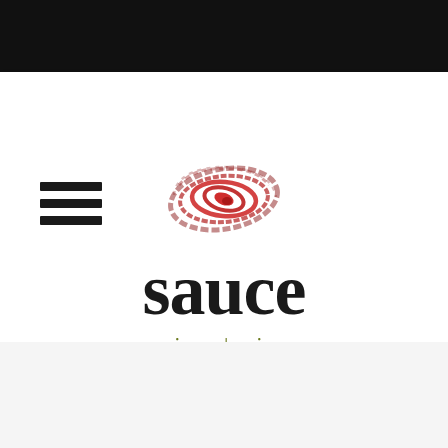[Figure (logo): Sauce Pizza | Wine restaurant logo with a red swirl illustration above the word 'sauce' in large dark serif font, with 'pizza | wine' in olive green italic below]
[Figure (other): Hamburger menu icon with three horizontal bars on the left side of the header]
[Figure (other): Search input bar with rounded corners and a red circular arrow/submit button on the right]